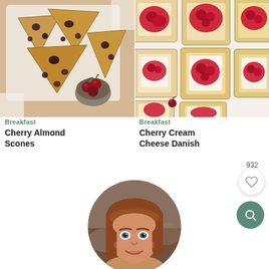[Figure (photo): Overhead view of cherry almond scones in a baking tray with fresh cherries in a small bowl]
[Figure (photo): Overhead view of cherry cream cheese danish pastries arranged on a white surface]
Breakfast
Cherry Almond Scones
Breakfast
Cherry Cream Cheese Danish
932
[Figure (photo): Circular portrait photo of a woman with reddish-brown hair smiling]